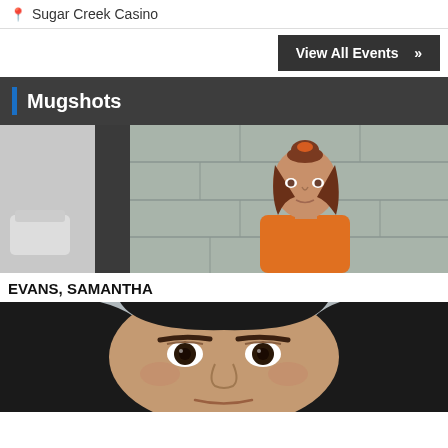Sugar Creek Casino
View All Events »
Mugshots
[Figure (photo): Mugshot of a young woman with brown hair in an orange jumpsuit standing against a gray block wall]
EVANS, SAMANTHA
[Figure (photo): Mugshot of a woman with long dark hair against a gray background, close-up view]